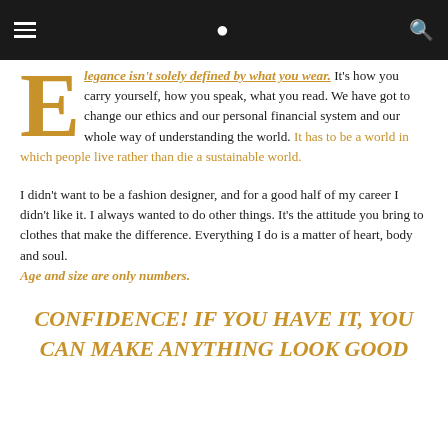≡  [navigation bar]  🔍
Elegance isn't solely defined by what you wear. It's how you carry yourself, how you speak, what you read. We have got to change our ethics and our personal financial system and our whole way of understanding the world. It has to be a world in which people live rather than die a sustainable world.
I didn't want to be a fashion designer, and for a good half of my career I didn't like it. I always wanted to do other things. It's the attitude you bring to clothes that make the difference. Everything I do is a matter of heart, body and soul. Age and size are only numbers.
CONFIDENCE! IF YOU HAVE IT, YOU CAN MAKE ANYTHING LOOK GOOD